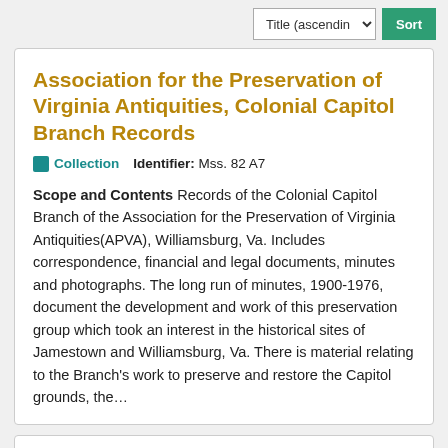Association for the Preservation of Virginia Antiquities, Colonial Capitol Branch Records
Collection   Identifier: Mss. 82 A7
Scope and Contents Records of the Colonial Capitol Branch of the Association for the Preservation of Virginia Antiquities(APVA), Williamsburg, Va. Includes correspondence, financial and legal documents, minutes and photographs. The long run of minutes, 1900-1976, document the development and work of this preservation group which took an interest in the historical sites of Jamestown and Williamsburg, Va. There is material relating to the Branch's work to preserve and restore the Capitol grounds, the...